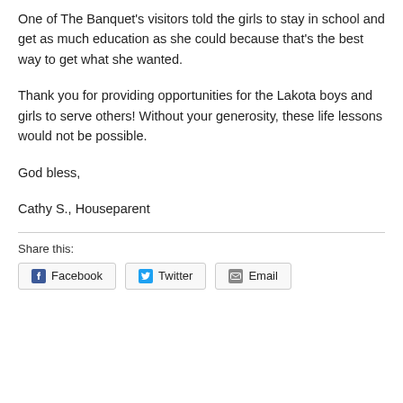One of The Banquet's visitors told the girls to stay in school and get as much education as she could because that's the best way to get what she wanted.
Thank you for providing opportunities for the Lakota boys and girls to serve others! Without your generosity, these life lessons would not be possible.
God bless,
Cathy S., Houseparent
Share this:
Facebook  Twitter  Email